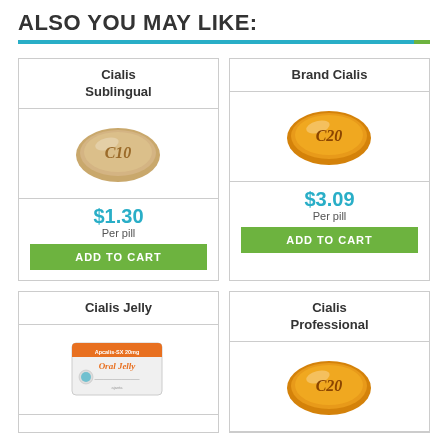ALSO YOU MAY LIKE:
[Figure (photo): Cialis Sublingual pill (beige oval tablet labeled C10)]
$1.30
Per pill
ADD TO CART
[Figure (photo): Brand Cialis pill (orange/gold oval tablet labeled C20)]
$3.09
Per pill
ADD TO CART
[Figure (photo): Cialis Jelly packet (Apcalis-SX 20mg Oral Jelly sachet)]
[Figure (photo): Cialis Professional pill (orange/gold oval tablet labeled C20)]